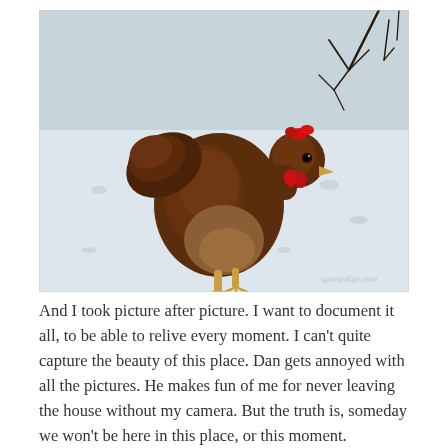[Figure (photo): A brown chicken standing in snow, facing right, with bare tree branches visible in the upper right corner. A watermark reads 'spiritedlife.com' in the lower right of the photo.]
And I took picture after picture. I want to document it all, to be able to relive every moment. I can't quite capture the beauty of this place. Dan gets annoyed with all the pictures. He makes fun of me for never leaving the house without my camera. But the truth is, someday we won't be here in this place, or this moment. Someday, Lord willing, we'll be old and grey